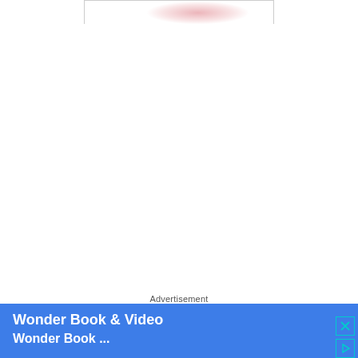[Figure (photo): Partial image with pinkish-red blurred shape against white background, bordered rectangle at top of page]
Advertisement
[Figure (infographic): Blue advertisement banner for Wonder Book & Video with close and play icons on the right side]